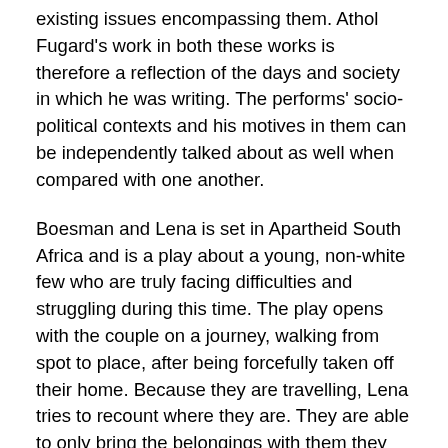existing issues encompassing them. Athol Fugard's work in both these works is therefore a reflection of the days and society in which he was writing. The performs' socio-political contexts and his motives in them can be independently talked about as well when compared with one another.
Boesman and Lena is set in Apartheid South Africa and is a play about a young, non-white few who are truly facing difficulties and struggling during this time. The play opens with the couple on a journey, walking from spot to place, after being forcefully taken off their home. Because they are travelling, Lena tries to recount where they are. They are able to only bring the belongings with them they can afford to transport on their backs and they also are exposed to the elements around them. As the couple are homeless, Boesman made a decision that in order to endure he needs to create a shelter out of scrap iron and other materials that he has found. After the shelter is